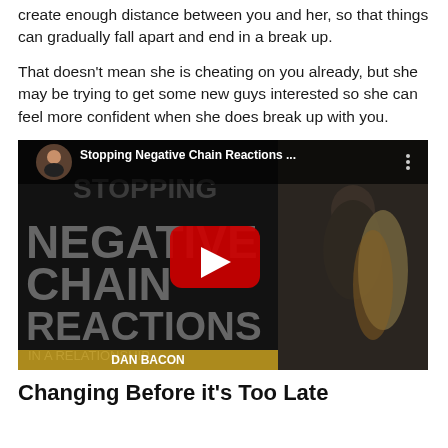create enough distance between you and her, so that things can gradually fall apart and end in a break up.
That doesn't mean she is cheating on you already, but she may be trying to get some new guys interested so she can feel more confident when she does break up with you.
[Figure (screenshot): YouTube video thumbnail for 'Stopping Negative Chain Reactions ...' by Dan Bacon, showing text NEGATIVE CHAIN REACTIONS IN A RELATIONSHIP with a play button and two people]
Changing Before it's Too Late